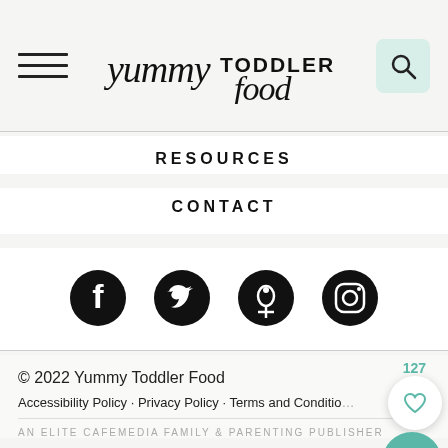yummy TODDLER food
RESOURCES
CONTACT
[Figure (illustration): Social media icons: Facebook, Twitter, Pinterest, Instagram]
© 2022 Yummy Toddler Food
Accessibility Policy · Privacy Policy · Terms and Conditions
AN ELITE CAFEMEDIA FAMILY & PARENTING PUBLISHER